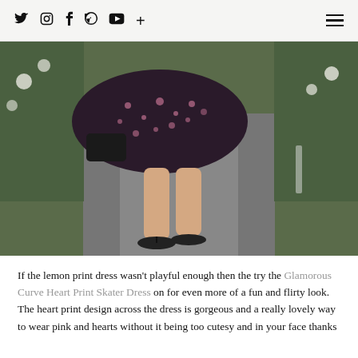Social icons: Twitter, Instagram, Facebook, Pinterest, YouTube, Plus | Hamburger menu
[Figure (photo): Woman wearing a dark floral/heart print skater dress in pink and black, holding a black clutch, standing on a paved path with green foliage on the sides, wearing black flip flops. Only lower body and legs visible.]
If the lemon print dress wasn't playful enough then the try the Glamorous Curve Heart Print Skater Dress on for even more of a fun and flirty look. The heart print design across the dress is gorgeous and a really lovely way to wear pink and hearts without it being too cutesy and in your face thanks